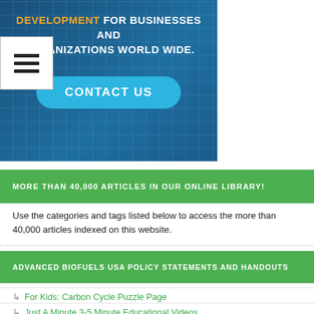[Figure (other): Banner image with dark blue background showing text about development for businesses and organizations worldwide, with a Contact Us button]
MORE THAN 40,000 ARTICLES IN OUR ONLINE LIBRARY!
Use the categories and tags listed below to access the more than 40,000 articles indexed on this website.
ADVANCED BIOFUELS USA POLICY STATEMENTS AND HANDOUTS
For Kids: Carbon Cycle Puzzle Page
Just A Minute 3-5 Minute Educational Videos
30/30 Online Presentations
“Disappearing” Carbon Tax for Non-Renewable Fuels
What’s the Difference between Biodiesel and Renewable (D) Diesel? 2020 revision
How to De-Fossilize Your Fleet: Suggestions for Fleet Managers Working on Sustainability Programs